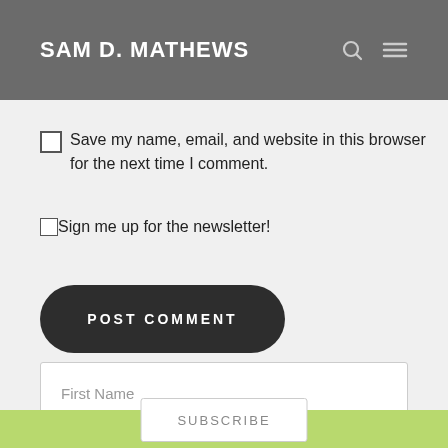SAM D. MATHEWS
Save my name, email, and website in this browser for the next time I comment.
Sign me up for the newsletter!
POST COMMENT
First Name
Your email address
SUBSCRIBE